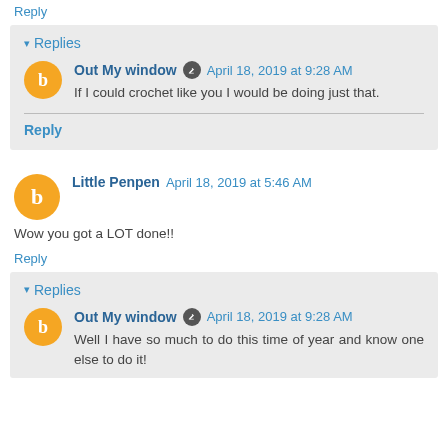Reply
Replies
Out My window  April 18, 2019 at 9:28 AM
If I could crochet like you I would be doing just that.
Reply
Little Penpen  April 18, 2019 at 5:46 AM
Wow you got a LOT done!!
Reply
Replies
Out My window  April 18, 2019 at 9:28 AM
Well I have so much to do this time of year and know one else to do it!